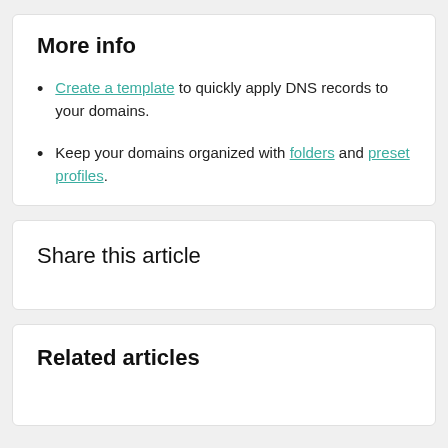More info
Create a template to quickly apply DNS records to your domains.
Keep your domains organized with folders and preset profiles.
Share this article
Related articles